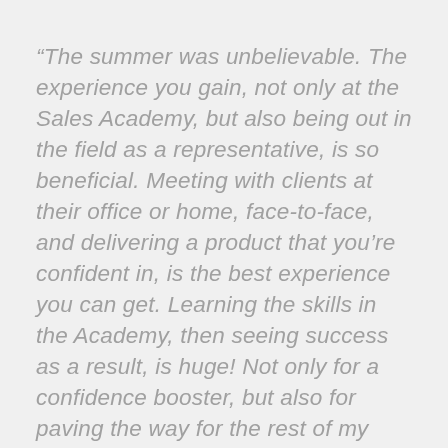“The summer was unbelievable. The experience you gain, not only at the Sales Academy, but also being out in the field as a representative, is so beneficial. Meeting with clients at their office or home, face-to-face, and delivering a product that you’re confident in, is the best experience you can get. Learning the skills in the Academy, then seeing success as a result, is huge! Not only for a confidence booster, but also for paving the way for the rest of my career. This is the real thing. Real life. Real world. Real business experience. If you’re